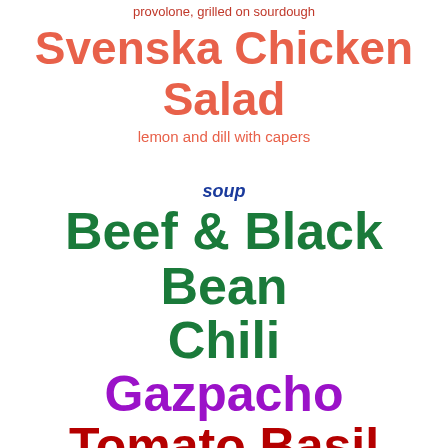provolone, grilled on sourdough
Svenska Chicken Salad
lemon and dill with capers
soup
Beef & Black Bean Chili
Gazpacho
Tomato Basil
Frittatta